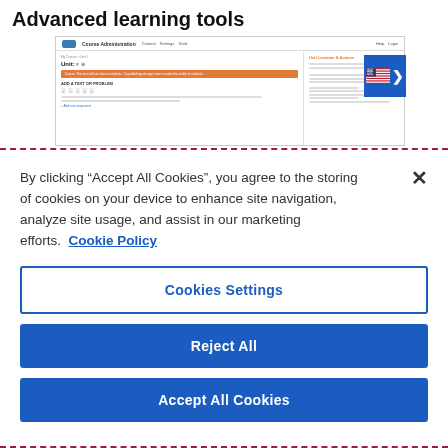Advanced learning tools
[Figure (screenshot): Screenshot of a course unit editing interface with navigation bar, breadcrumbs, unit title, orange alert banner, section headers, toolbar, and a right side panel with orange section title and content lines.]
By clicking “Accept All Cookies”, you agree to the storing of cookies on your device to enhance site navigation, analyze site usage, and assist in our marketing efforts.  Cookie Policy
Cookies Settings
Reject All
Accept All Cookies